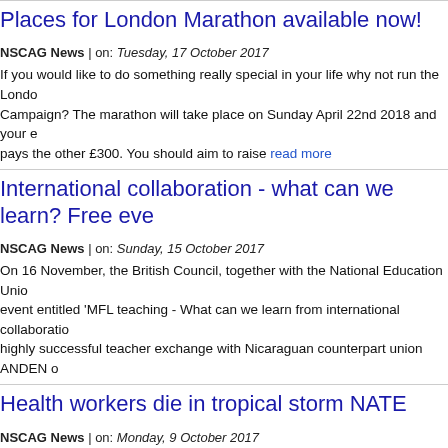Places for London Marathon available now!
NSCAG News | on: Tuesday, 17 October 2017
If you would like to do something really special in your life why not run the London Marathon for the Nicaragua Solidarity Campaign? The marathon will take place on Sunday April 22nd 2018 and your entry fee is £50, and the Campaign pays the other £300. You should aim to raise read more
International collaboration - what can we learn? Free eve
NSCAG News | on: Sunday, 15 October 2017
On 16 November, the British Council, together with the National Education Union (NEU), are holding a free event entitled 'MFL teaching - What can we learn from international collaboration?' This follows a highly successful teacher exchange with Nicaraguan counterpart union ANDEN o
Health workers die in tropical storm NATE
NSCAG News | on: Monday, 9 October 2017
Three health workers - a doctor, a nurse and a driver - have died as a result of a road accident in conditions arising from tropical storm NATE. The workers, all members of trade u from attending to an emergency in the region of Juigalpa. read more